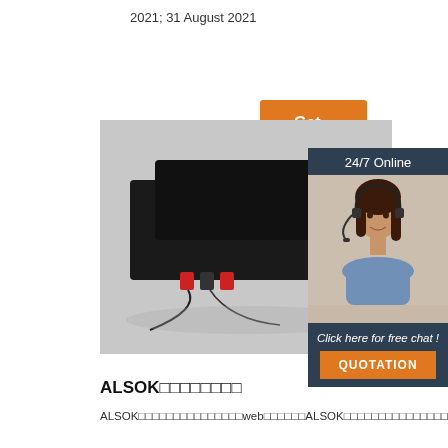2021; 31 August 2021
[Figure (other): Orange 'Get Price' button]
[Figure (photo): Product photo of black electronic rack-mount device/battery unit with cables, on grey background]
[Figure (other): Sidebar widget with '24/7 Online' header, customer service agent photo wearing headset, 'Click here for free chat!' text, and orange QUOTATION button]
ALSOK□□□□□□□□
ALSOK□□□□□□□□□□□□□□□web□□□□□□ALSOK□□□□□□□□□□□□□□□□□